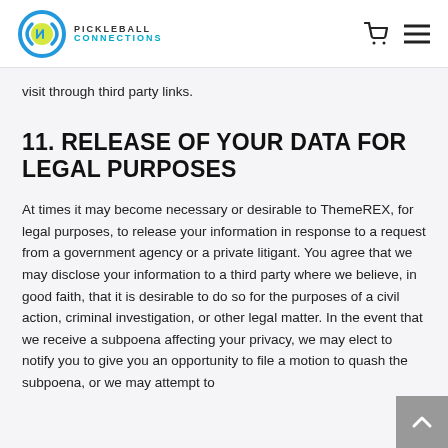PICKLEBALL CONNECTIONS
visit through third party links.
11. RELEASE OF YOUR DATA FOR LEGAL PURPOSES
At times it may become necessary or desirable to ThemeREX, for legal purposes, to release your information in response to a request from a government agency or a private litigant. You agree that we may disclose your information to a third party where we believe, in good faith, that it is desirable to do so for the purposes of a civil action, criminal investigation, or other legal matter. In the event that we receive a subpoena affecting your privacy, we may elect to notify you to give you an opportunity to file a motion to quash the subpoena, or we may attempt to